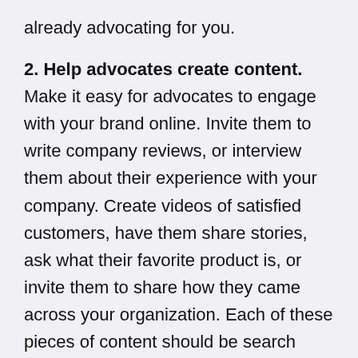already advocating for you.
2. Help advocates create content. Make it easy for advocates to engage with your brand online. Invite them to write company reviews, or interview them about their experience with your company. Create videos of satisfied customers, have them share stories, ask what their favorite product is, or invite them to share how they came across your organization. Each of these pieces of content should be search engine optimized to ensure it gets the most reach.
3. Boost their voices. Brand advocacy isn't a one-way street — show your brand advocates